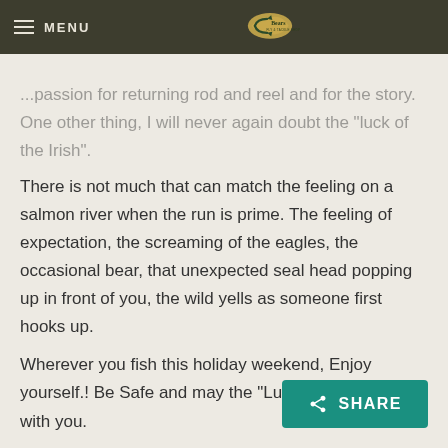MENU
...passion for returning rod and reel and for the story. One other thing, I will never again doubt the "luck of the Irish".
There is not much that can match the feeling on a salmon river when the run is prime. The feeling of expectation, the screaming of the eagles, the occasional bear, that unexpected seal head popping up in front of you, the wild yells as someone first hooks up.
Wherever you fish this holiday weekend, Enjoy yourself.! Be Safe and may the "Luck of the Irish" be with you.